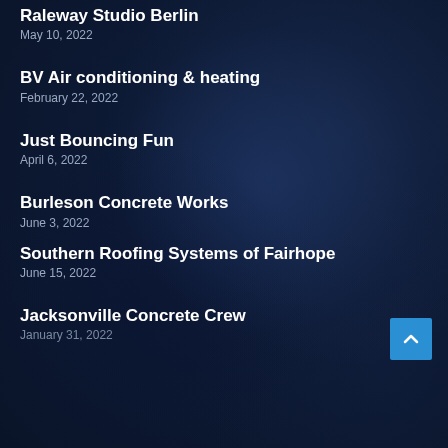Raleway Studio Berlin
May 10, 2022
BV Air conditioning & heating
February 22, 2022
Just Bouncing Fun
April 6, 2022
Burleson Concrete Works
June 3, 2022
Southern Roofing Systems of Fairhope
June 15, 2022
Jacksonville Concrete Crew
January 31, 2022